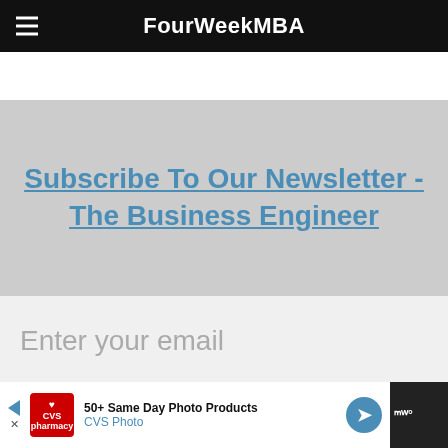FourWeekMBA
Subscribe To Our Newsletter - The Business Engineer
Enter your email
Join The Newsletter
[Figure (screenshot): CVS Pharmacy advertisement banner: '50+ Same Day Photo Products' and 'CVS Photo']